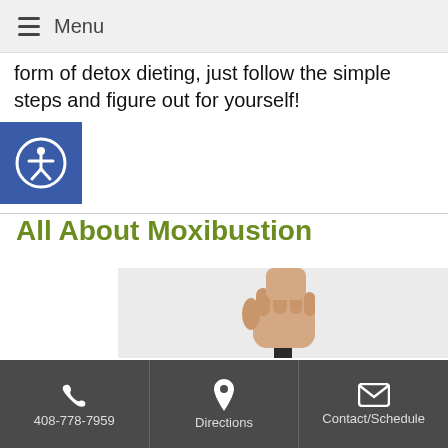Menu
form of detox dieting, just follow the simple steps and figure out for yourself!
All About Moxibustion
[Figure (photo): A hand using a pestle to grind herbs in a dark stone mortar, with green herb leaves visible, on a light background.]
408-778-7959  Directions  Contact/Schedule